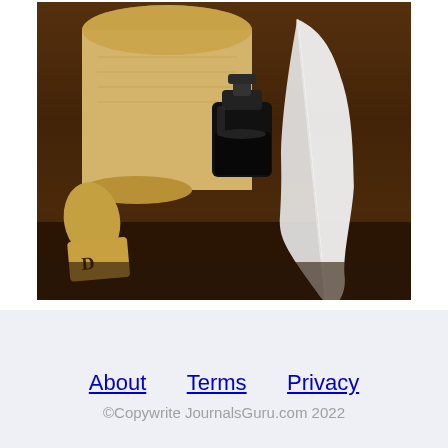[Figure (photo): A scroll of parchment paper partially unrolled, a dark glass ink bottle, and a white feather quill pen resting on a wooden surface.]
About   Terms   Privacy
©Copywrite JournalsGuru.com 2022